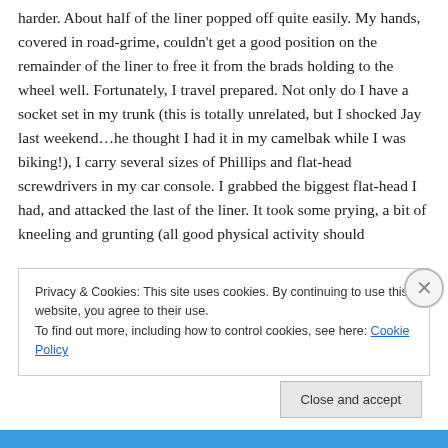harder. About half of the liner popped off quite easily. My hands, covered in road-grime, couldn't get a good position on the remainder of the liner to free it from the brads holding to the wheel well. Fortunately, I travel prepared. Not only do I have a socket set in my trunk (this is totally unrelated, but I shocked Jay last weekend…he thought I had it in my camelbak while I was biking!), I carry several sizes of Phillips and flat-head screwdrivers in my car console. I grabbed the biggest flat-head I had, and attacked the last of the liner. It took some prying, a bit of kneeling and grunting (all good physical activity should
Privacy & Cookies: This site uses cookies. By continuing to use this website, you agree to their use.
To find out more, including how to control cookies, see here: Cookie Policy